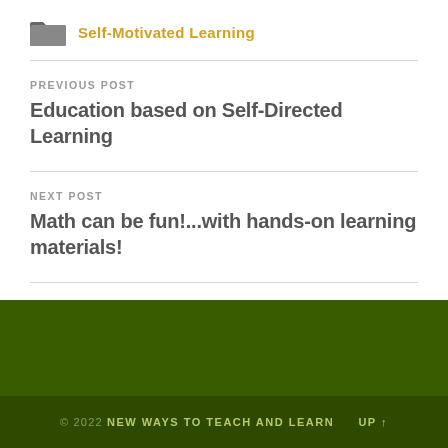Self-Motivated Learning
PREVIOUS POST
Education based on Self-Directed Learning
NEXT POST
Math can be fun!...with hands-on learning materials!
© 2022 NEW WAYS TO TEACH AND LEARN   UP ↑